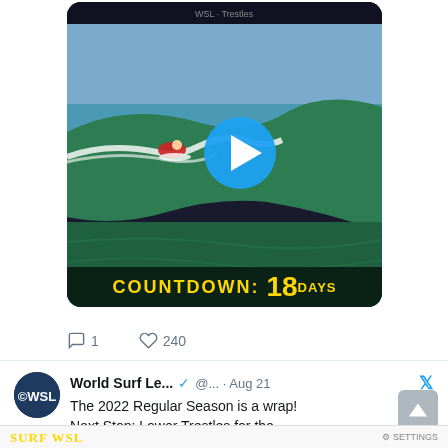[Figure (screenshot): Twitter/social media screenshot showing a surfing video thumbnail with a play button overlay and 'COUNTDOWN: 18 DAYS' text at the bottom, followed by a tweet from World Surf League (@WSL) dated Aug 21 reading 'The 2022 Regular Season is a wrap! Next Stop: Lower Trestles for the #RipCurlWSLFinals' with trophy emoji]